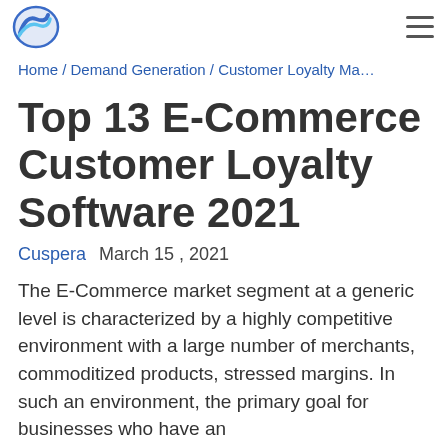Home / Demand Generation / Customer Loyalty Ma…
Top 13 E-Commerce Customer Loyalty Software 2021
Cuspera  March 15 , 2021
The E-Commerce market segment at a generic level is characterized by a highly competitive environment with a large number of merchants, commoditized products, stressed margins. In such an environment, the primary goal for businesses who have an